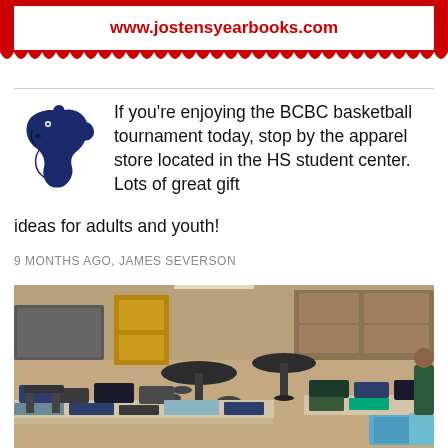[Figure (other): Red banner with scalloped white inner border showing website URL www.jostensyearbooks.com in red bold text]
[Figure (logo): School mascot logo - blue Bronco/horse head illustration]
If you're enjoying the BCBC basketball tournament today, stop by the apparel store located in the HS student center. Lots of great gift ideas for adults and youth!
9 MONTHS AGO, JAMES SEVERSON
[Figure (photo): Photo of school apparel store set up in what appears to be a student center, with folding tables covered in clothing merchandise, round tables with stools, cabinets and chairs in background]